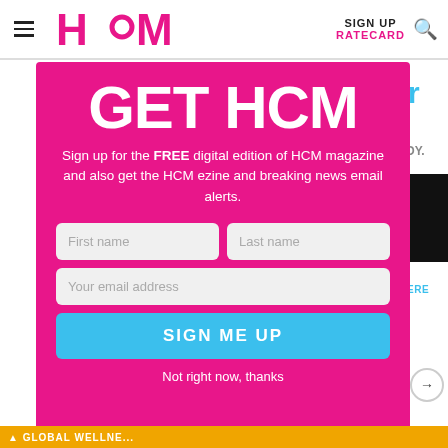[Figure (logo): HCM magazine logo in pink/magenta with a circular dash element between H and M]
SIGN UP
RATECARD
GET HCM
Sign up for the FREE digital edition of HCM magazine and also get the HCM ezine and breaking news email alerts.
First name
Last name
Your email address
SIGN ME UP
Not right now, thanks